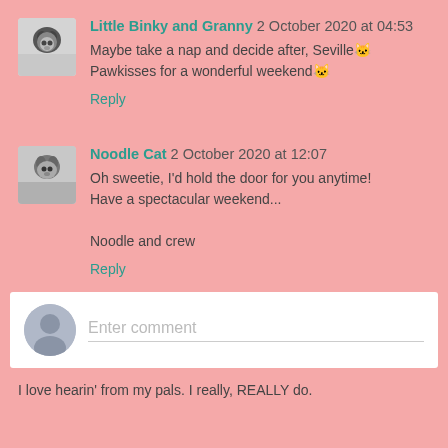Little Binky and Granny 2 October 2020 at 04:53
Maybe take a nap and decide after, Seville🐱Pawkisses for a wonderful weekend🐱
Reply
Noodle Cat 2 October 2020 at 12:07
Oh sweetie, I'd hold the door for you anytime!
Have a spectacular weekend...

Noodle and crew
Reply
Enter comment
I love hearin' from my pals. I really, REALLY do.